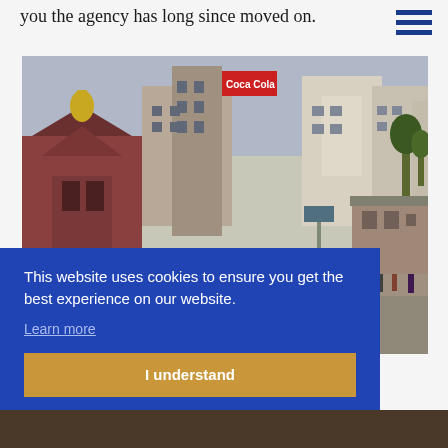you the agency has long since moved on.
[Figure (photo): Busy street scene in Kathmandu, Nepal, showing a crowded marketplace with traditional temple architecture, brick buildings, and many pedestrians.]
This website uses cookies to ensure you get the best experience on our website. Learn more
I understand